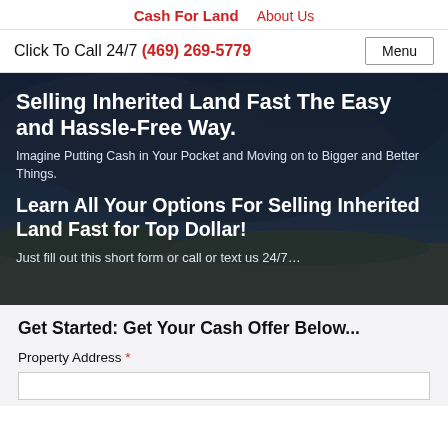Cash For Land   About Us
Click To Call 24/7 (469) 269-5779   Menu
Selling Inherited Land Fast The Easy and Hassle-Free Way.
Imagine Putting Cash in Your Pocket and Moving on to Bigger and Better Things.
Learn All Your Options For Selling Inherited Land Fast for Top Dollar!
Just fill out this short form or call or text us 24/7…
Get Started: Get Your Cash Offer Below...
Property Address *